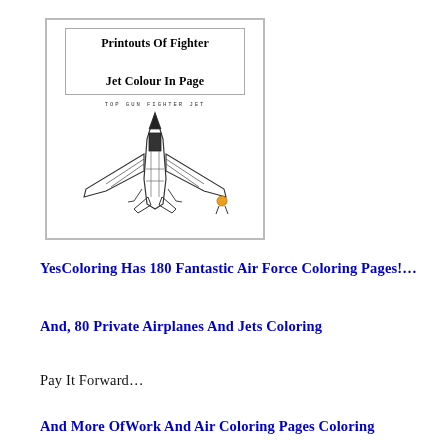[Figure (illustration): A framed thumbnail image of a fighter jet coloring page. The inner frame contains bold text 'Printouts Of Fighter Jet Colour In Page', a small label 'TOP GUN FIGHTER JET', and a top-view line drawing of a fighter jet aircraft.]
YesColoring Has 180 Fantastic Air Force Coloring Pages!…
And, 80 Private Airplanes And Jets Coloring
Pay It Forward…
And More OfWork And Air Coloring Pages Coloring